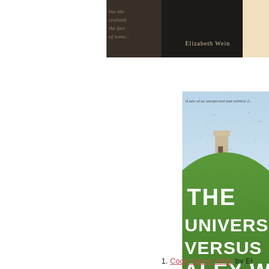[Figure (photo): Partial book cover of 'Code Name Verity' by Elizabeth Wein — dark background with faded italic text overlay and author name 'Elizabeth Wein' at bottom right]
[Figure (photo): Partial book cover of 'The Universe Versus Alex Woods' by Gavin Extence — showing a grassy hill with a stone tower, birds flying, and large white title text]
1. Code Name Verity by El...